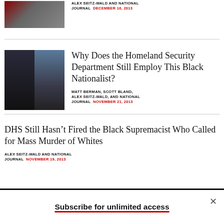[Figure (photo): Partial photo of crowd/event at top]
ALEX SEITZ-WALD AND NATIONAL JOURNAL  DECEMBER 16, 2013
Why Does the Homeland Security Department Still Employ This Black Nationalist?
[Figure (photo): Two-panel photo: man in suit on left, man with blue tie on right]
MATT BERMAN, SCOTT BLAND, ALEX SEITZ-WALD, AND NATIONAL JOURNAL  NOVEMBER 21, 2013
DHS Still Hasn’t Fired the Black Supremacist Who Called for Mass Murder of Whites
ALEX SEITZ-WALD AND NATIONAL JOURNAL  NOVEMBER 19, 2013
Subscribe for unlimited access